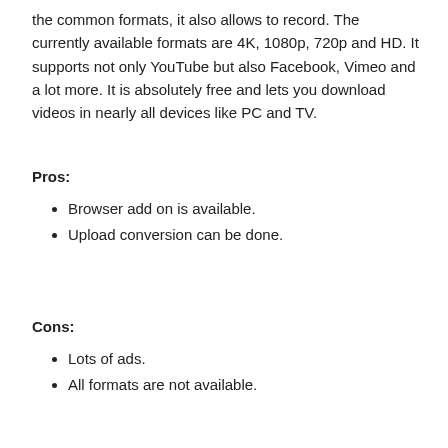the common formats, it also allows to record. The currently available formats are 4K, 1080p, 720p and HD. It supports not only YouTube but also Facebook, Vimeo and a lot more. It is absolutely free and lets you download videos in nearly all devices like PC and TV.
Pros:
Browser add on is available.
Upload conversion can be done.
Cons:
Lots of ads.
All formats are not available.